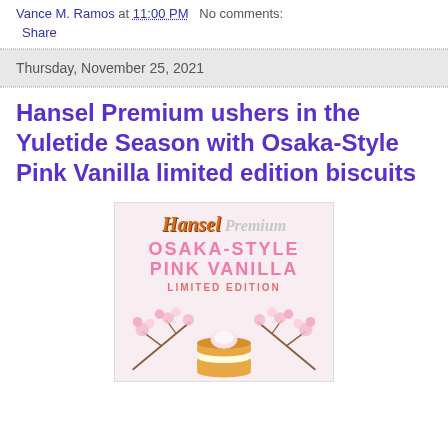Vance M. Ramos at 11:00 PM   No comments:
Share
Thursday, November 25, 2021
Hansel Premium ushers in the Yuletide Season with Osaka-Style Pink Vanilla limited edition biscuits
[Figure (photo): Hansel Premium Osaka-Style Pink Vanilla Limited Edition biscuit packaging with cherry blossom decorations and a biscuit with cream filling]